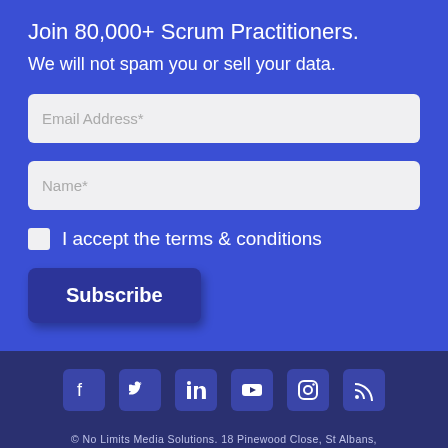Join 80,000+ Scrum Practitioners.
We will not spam you or sell your data.
Email Address*
Name*
I accept the terms & conditions
Subscribe
[Figure (infographic): Social media icons row: Facebook, Twitter, LinkedIn, YouTube, Instagram, RSS feed]
© No Limits Media Solutions. 18 Pinewood Close, St Albans, Herts, AL4 0DS, UK | +44 (0)7547 341 301 | Support@TheScrumMaster.co.uk | Terms & Conditions | Privacy Policy